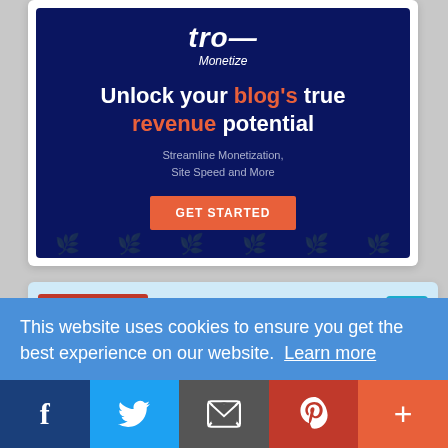[Figure (screenshot): Dark navy blue advertisement banner for a blog monetization service. Shows logo at top, headline 'Unlock your blog's true revenue potential' with 'blog's' and 'revenue' in orange, subtext 'Streamline Monetization, Site Speed and More', and an orange 'GET STARTED' button.]
[Figure (screenshot): Article preview card on light blue background showing a thumbnail of a red booklet titled 'RUNNING OUT OF TIME!' and article title 'RUNNING OUT OF TIME !! – Want to advertise for All your Mandatory Not...' with a teal price tag icon.]
This website uses cookies to ensure you get the best experience on our website. Learn more
[Figure (infographic): Social share bar with five buttons: Facebook (dark blue), Twitter (light blue), Email (gray), Pinterest (red), and More/Plus (orange).]